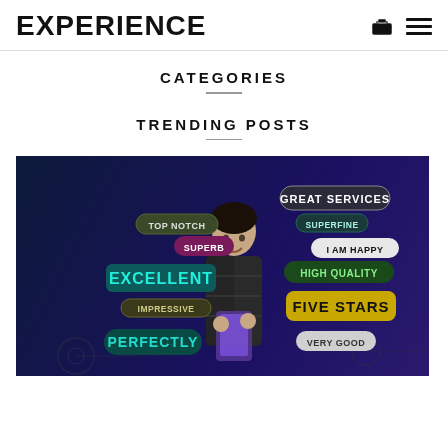EXPERIENCE
CATEGORIES
TRENDING POSTS
[Figure (photo): Woman smiling at a tablet/phone with colorful word bubbles around her: GREAT SERVICES, TOP NOTCH, SUPERFINE, SUPERB, I AM HAPPY, EXCELLENT, HIGH QUALITY, IMPRESSIVE, FIVE STARS, PERFECTLY, VERY GOOD]